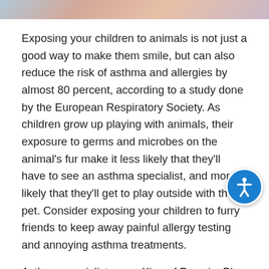[Figure (photo): Partial photo strip at top of page showing children with animals, cropped]
Exposing your children to animals is not just a good way to make them smile, but can also reduce the risk of asthma and allergies by almost 80 percent, according to a study done by the European Respiratory Society. As children grow up playing with animals, their exposure to germs and microbes on the animal's fur make it less likely that they'll have to see an asthma specialist, and more likely that they'll get to play outside with their pet. Consider exposing your children to furry friends to keep away painful allergy testing and annoying asthma treatments.
Asthma specialists near King of Prussia, Blue Bell, Philadelphia, Pottstown, Collegeville, Doylestown, Jenkintown, or Lansdale offer several treatment options for you and your child. Call Allergy & Asthma Specialists, PC at 1(800)86-COUGH to schedule your appointment.